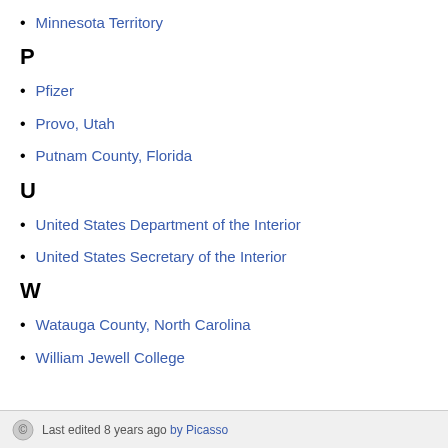Minnesota Territory
P
Pfizer
Provo, Utah
Putnam County, Florida
U
United States Department of the Interior
United States Secretary of the Interior
W
Watauga County, North Carolina
William Jewell College
Last edited 8 years ago by Picasso